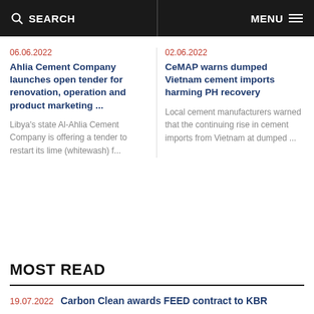SEARCH   MENU
06.06.2022
Ahlia Cement Company launches open tender for renovation, operation and product marketing ...
Libya's state Al-Ahlia Cement Company is offering a tender to restart its lime (whitewash) f...
02.06.2022
CeMAP warns dumped Vietnam cement imports harming PH recovery
Local cement manufacturers warned that the continuing rise in cement imports from Vietnam at dumped ...
MOST READ
19.07.2022  Carbon Clean awards FEED contract to KBR